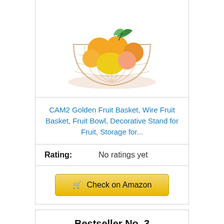[Figure (photo): Gold wire fruit basket filled with oranges, a mango, and fruit with green leaves on white background]
CAM2 Golden Fruit Basket, Wire Fruit Basket, Fruit Bowl, Decorative Stand for Fruit, Storage for...
Rating: No ratings yet
🛒 Check on Amazon
Bestseller No. 3
[Figure (photo): Dark wire fruit basket filled with colorful fruits including oranges and tomatoes]